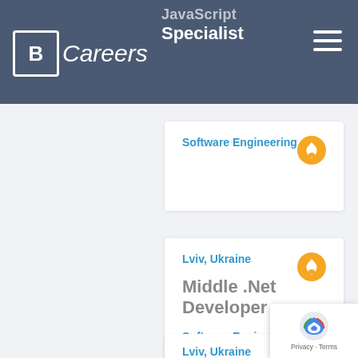BCareers
JavaScript Specialist
Software Engineering
Lviv, Ukraine
Middle .Net Developer
Software Engineering
Lviv, Ukraine